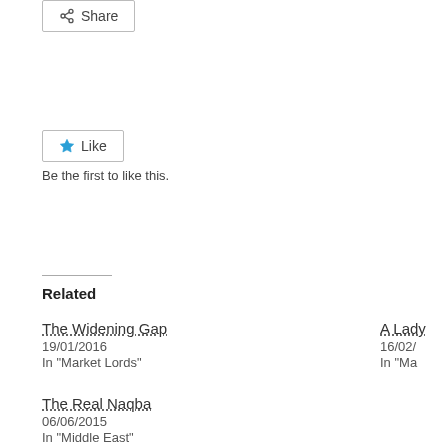Share
Like
Be the first to like this.
Related
The Widening Gap
19/01/2016
In "Market Lords"
A Lady
16/02/
In "Ma
The Real Naqba
06/06/2015
In "Middle East"
Posted on
Leave a Reply
Your email address will not be published. Required fields are marked *